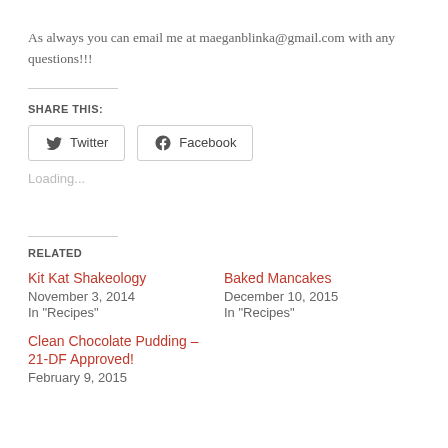As always you can email me at maeganblinka@gmail.com with any questions!!!
SHARE THIS:
Loading...
RELATED
Kit Kat Shakeology
November 3, 2014
In "Recipes"
Baked Mancakes
December 10, 2015
In "Recipes"
Clean Chocolate Pudding – 21-DF Approved!
February 9, 2015